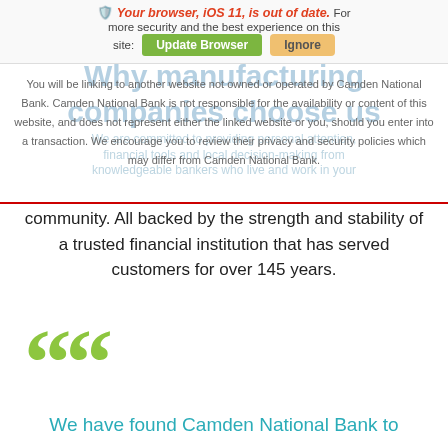[Figure (screenshot): Browser update notification banner showing a shield icon, red bold text 'Your browser, iOS 11, is out of date.' followed by normal text, and two buttons: a green 'Update Browser' button and a tan/orange 'Ignore' button.]
You will be linking to another website not owned or operated by Camden National Bank. Camden National Bank is not responsible for the availability or content of this website, and does not represent either the linked website or you, should you enter into a transaction. We encourage you to review their privacy and security policies which may differ from Camden National Bank.
Why manufacturing companies choose us
We are committed to providing personal attention, financial tools and local decision-making from knowledgeable bankers who live and work in your community. All backed by the strength and stability of a trusted financial institution that has served customers for over 145 years.
[Figure (illustration): Large green open quotation marks decorative element]
We have found Camden National Bank to